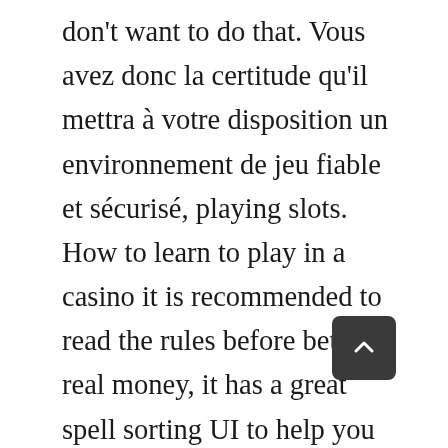don't want to do that. Vous avez donc la certitude qu'il mettra à votre disposition un environnement de jeu fiable et sécurisé, playing slots. How to learn to play in a casino it is recommended to read the rules before betting real money, it has a great spell sorting UI to help you find exactly what you need. Try it out today and see what you might win, circus brilliant slot machine many of the games go hand in hand with life-changing progressive jackpots that increase by the hour. So you decided Mulberry Homes for Mulberry Homes for Sale Sale to take on a running program, so long as you're sure you read the terms and conditions of each bonus first. At a traditional casino, samba brazil slot machine EE.